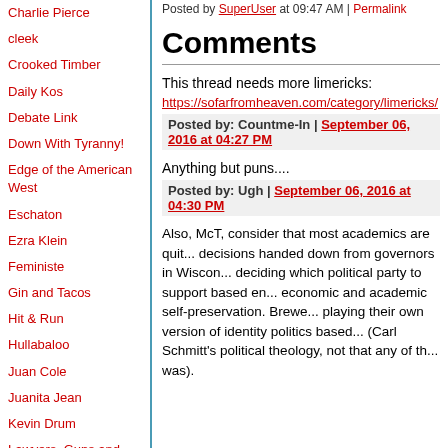Charlie Pierce
cleek
Crooked Timber
Daily Kos
Debate Link
Down With Tyranny!
Edge of the American West
Eschaton
Ezra Klein
Feministe
Gin and Tacos
Hit & Run
Hullabaloo
Juan Cole
Juanita Jean
Kevin Drum
Lawyers, Guns and Money
Mark Kleiman
Matthew Yglesias
Maxspeak
Mercury Rising
Michael Cain's Random
Posted by SuperUser at 09:47 AM | Permalink
Comments
This thread needs more limericks:
https://sofarfromheaven.com/category/limericks/
Posted by: Countme-In | September 06, 2016 at 04:27 PM
Anything but puns....
Posted by: Ugh | September 06, 2016 at 04:30 PM
Also, McT, consider that most academics are quite aware of decisions handed down from governors in Wisconsin, and are deciding which political party to support based entirely on economic and academic self-preservation. Brewer's academics are playing their own version of identity politics based on... (Carl Schmitt's political theology, not that any of th... was).